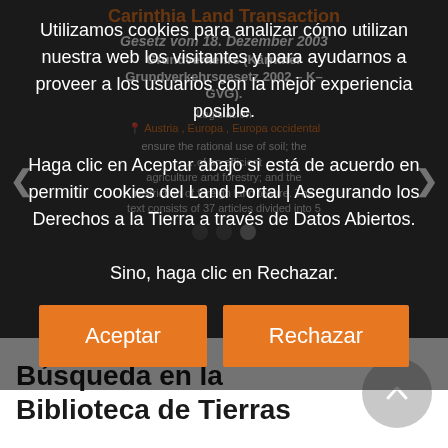[Figure (screenshot): Background webpage showing Carinthia Land Transaction document title in orange, German subtitle text in white bold italic, navigation arrows, location tags, and body text on dark background]
Utilizamos cookies para analizar cómo utilizan nuestra web los visitantes y para ayudarnos a proveer a los usuarios con la mejor experiencia posible.
Haga clic en Aceptar abajo si está de acuerdo en permitir cookies del Land Portal | Asegurando los Derechos a la Tierra a través de Datos Abiertos.
Sino, haga clic en Rechazar.
Aceptar
Rechazar
Búsqueda en la Biblioteca de Tierras